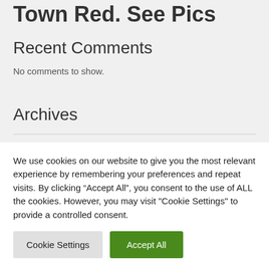Town Red. See Pics
Recent Comments
No comments to show.
Archives
We use cookies on our website to give you the most relevant experience by remembering your preferences and repeat visits. By clicking “Accept All”, you consent to the use of ALL the cookies. However, you may visit "Cookie Settings" to provide a controlled consent.